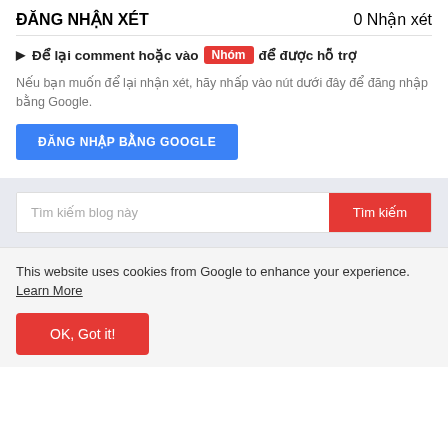ĐĂNG NHẬN XÉT
0 Nhận xét
▶ Để lại comment hoặc vào Nhóm để được hỗ trợ
Nếu bạn muốn để lại nhận xét, hãy nhấp vào nút dưới đây để đăng nhập bằng Google.
ĐĂNG NHẬP BẰNG GOOGLE
Tìm kiếm blog này
Tìm kiếm
This website uses cookies from Google to enhance your experience. Learn More
OK, Got it!